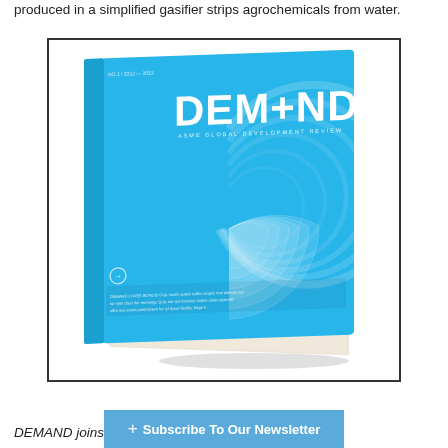produced in a simplified gasifier strips agrochemicals from water.
[Figure (photo): A magazine titled DEM+ND (ASME Global Development Review) with a blue cover featuring a radar/spiral chart design, shown as a slightly angled 3D book mockup inside a bordered box.]
+ Subscribe To Our Newsletter
DEMAND joins a